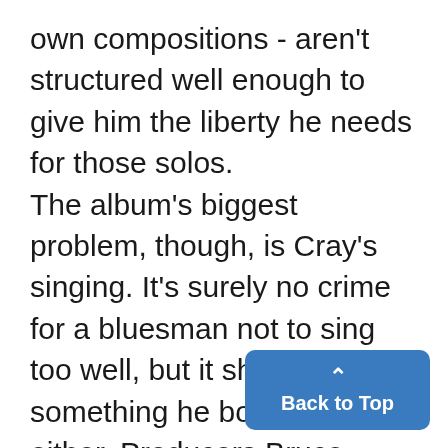own compositions - aren't structured well enough to give him the liberty he needs for those solos. The album's biggest problem, though, is Cray's singing. It's surely no crime for a bluesman not to sing too well, but it shouldn't be something he boasts about either. Producers Bruce Bromberg and Dennis Walker - probably to compensate for the generally slow pace - mixed Cray's vocals to the forefront, and if they belong on the record at all they somewhere in the back. With a